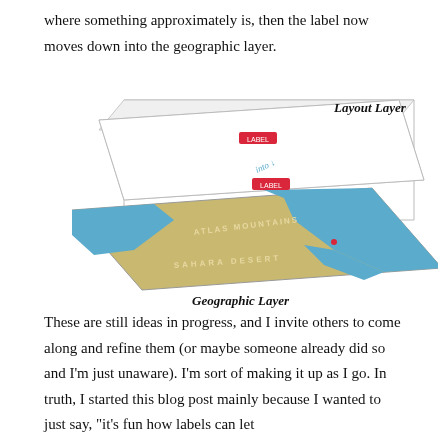where something approximately is, then the label now moves down into the geographic layer.
[Figure (illustration): A 3D diagram showing two layers: a white 'Layout Layer' on top with a small red label element, and a 'Geographic Layer' below showing a map of North Africa with the Sahara Desert and Atlas Mountains, with another small red label element descending into the geographic layer. Both layers are labeled in italic/bold text.]
These are still ideas in progress, and I invite others to come along and refine them (or maybe someone already did so and I'm just unaware). I'm sort of making it up as I go. In truth, I started this blog post mainly because I wanted to just say, "it's fun how labels can let